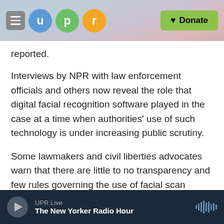UPR — u p r — Donate
reported.
Interviews by NPR with law enforcement officials and others now reveal the role that digital facial recognition software played in the case at a time when authorities' use of such technology is under increasing public scrutiny.
Some lawmakers and civil liberties advocates warn that there are little to no transparency and few rules governing the use of facial scan software and its vast surveillance potential, leaving the door open to possible abuse. Researchers, meanwhile, have found the software is less accurate with
UPR Live — The New Yorker Radio Hour